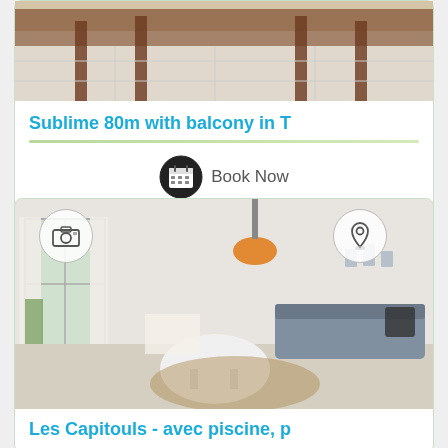[Figure (photo): Interior photo of a dining area with wooden chairs and tiled floor]
Sublime 80m with balcony in T
[Figure (other): Book Now button with calendar icon]
[Figure (photo): Interior photo of a bright living room with sofa, white round coffee table, and orange pendant lamp]
Les Capitouls - avec piscine, p